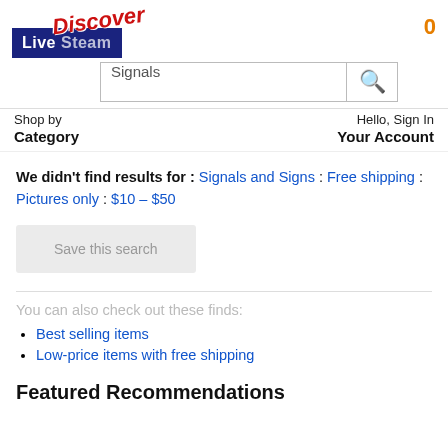[Figure (logo): LiveSteam logo with blue background and white text, overlaid with red italic Discover badge]
0
Signals
Shop by Category
Hello, Sign In Your Account
We didn't find results for : Signals and Signs : Free shipping : Pictures only : $10 – $50
Save this search
You can also check out these finds:
Best selling items
Low-price items with free shipping
Featured Recommendations